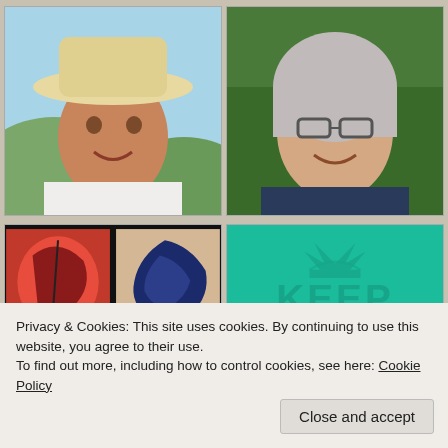[Figure (photo): Two side-by-side portrait photos: left shows a woman wearing a white cowboy hat smiling outdoors with hills behind her; right shows a woman with gray hair and glasses smiling outdoors with green trees behind her.]
[Figure (photo): Bottom-left: two artwork images side by side — a red abstract shape and a dark blue abstract shape on tan background, both with black border. Bottom-right: teal/green background with a crown icon and the word KEEP in large text.]
Privacy & Cookies: This site uses cookies. By continuing to use this website, you agree to their use.
To find out more, including how to control cookies, see here: Cookie Policy
Close and accept